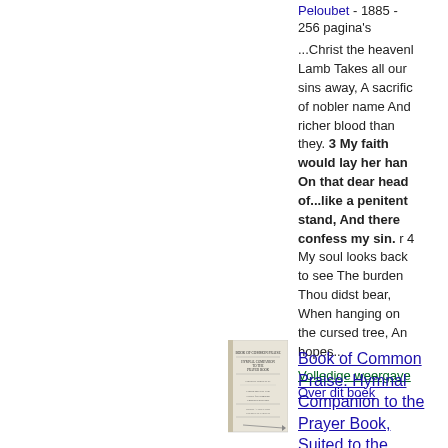Peloubet - 1885 - 256 pagina's
...Christ the heavenly Lamb Takes all our sins away, A sacrifice of nobler name And richer blood than they. 3 My faith would lay her hand On that dear head of...like a penitent stand, And there confess my sin. r 4 My soul looks back to see The burden Thou didst bear, When hanging on the cursed tree, And hopes...
Volledige weergave
Over dit boek
[Figure (photo): Thumbnail cover image of a hymnal book titled 'Hymnal Companion to the Prayer Book']
Book of Common Praise: Hymnal Companion to the Prayer Book, Suited to the ...